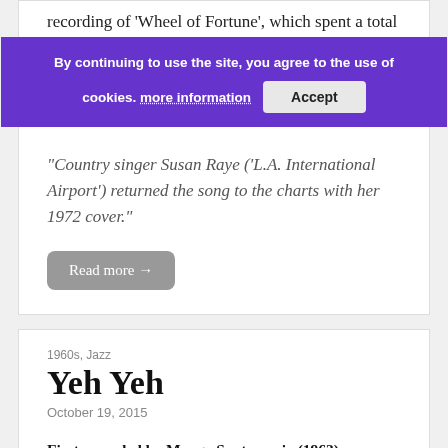recording of 'Wheel of Fortune', which spent a total of ...
[Figure (screenshot): Cookie consent banner with purple background reading 'By continuing to use the site, you agree to the use of cookies. more information' with an Accept button]
"Country singer Susan Raye ('L.A. International Airport') returned the song to the charts with her 1972 cover."
Read more →
1960s, Jazz
Yeh Yeh
October 19, 2015
First recorded by Mongo Santamaria (1963). Hit versions by Georgie Fame & the Blue Flames (UK #1 1964/US #21 1965), Matt Bianco (UK #13